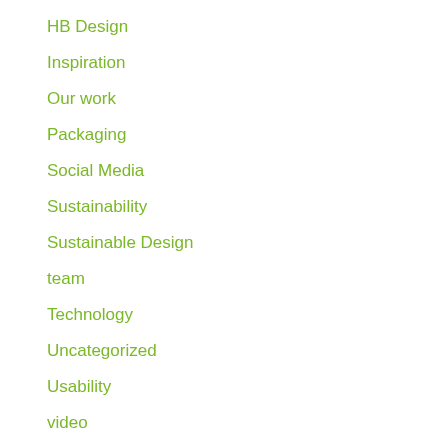HB Design
Inspiration
Our work
Packaging
Social Media
Sustainability
Sustainable Design
team
Technology
Uncategorized
Usability
video
Web Design
Wordpress